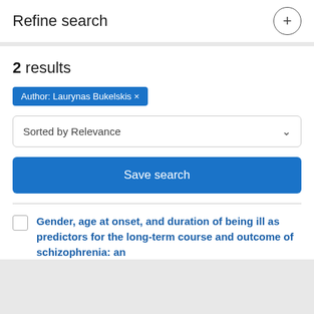Refine search
2 results
Author: Laurynas Bukelskis ×
Sorted by Relevance
Save search
Gender, age at onset, and duration of being ill as predictors for the long-term course and outcome of schizophrenia: an